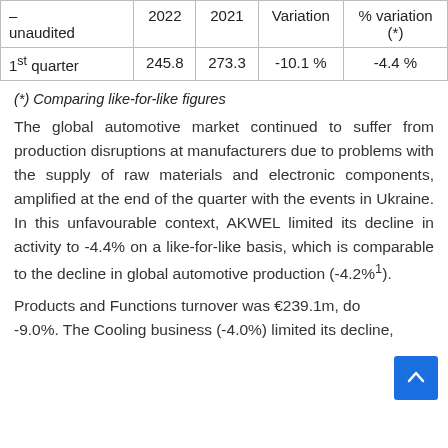| –
unaudited | 2022 | 2021 | Variation | % variation (*) |
| --- | --- | --- | --- | --- |
| 1st quarter | 245.8 | 273.3 | -10.1 % | -4.4 % |
(*) Comparing like-for-like figures
The global automotive market continued to suffer from production disruptions at manufacturers due to problems with the supply of raw materials and electronic components, amplified at the end of the quarter with the events in Ukraine. In this unfavourable context, AKWEL limited its decline in activity to -4.4% on a like-for-like basis, which is comparable to the decline in global automotive production (-4.2%1).
Products and Functions turnover was €239.1m, down -9.0%. The Cooling business (-4.0%) limited its decline,